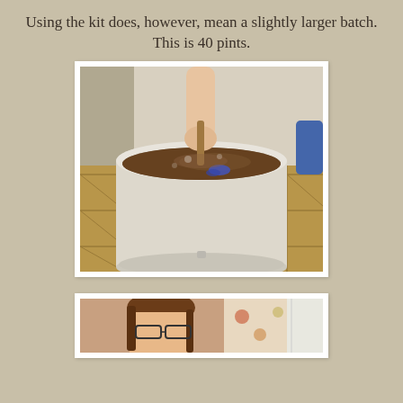Using the kit does, however, mean a slightly larger batch. This is 40 pints.
[Figure (photo): A hand stirring a large bucket of dark brown liquid (wort/beer) sitting on a tiled kitchen floor. A blue element is visible in the liquid.]
[Figure (photo): Partial view of a person with brown hair reading or looking at something, with a patterned cushion visible in the background.]